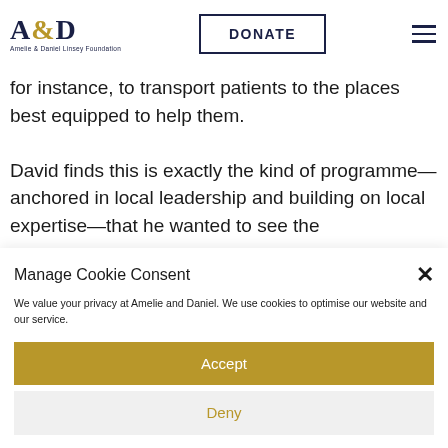A&D Amelie & Daniel Linsey Foundation | DONATE
for instance, to transport patients to the places best equipped to help them.
David finds this is exactly the kind of programme—anchored in local leadership and building on local expertise—that he wanted to see the
Manage Cookie Consent
We value your privacy at Amelie and Daniel. We use cookies to optimise our website and our service.
Accept
Deny